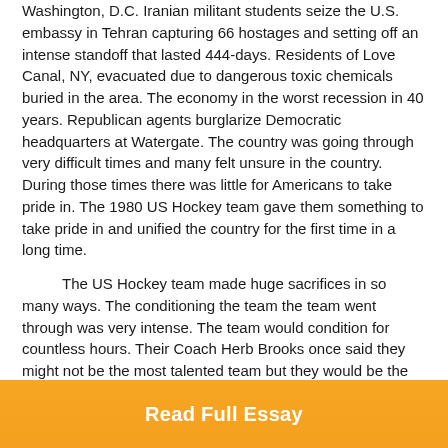Washington, D.C. Iranian militant students seize the U.S. embassy in Tehran capturing 66 hostages and setting off an intense standoff that lasted 444-days. Residents of Love Canal, NY, evacuated due to dangerous toxic chemicals buried in the area. The economy in the worst recession in 40 years. Republican agents burglarize Democratic headquarters at Watergate. The country was going through very difficult times and many felt unsure in the country. During those times there was little for Americans to take pride in. The 1980 US Hockey team gave them something to take pride in and unified the country for the first time in a long time.
The US Hockey team made huge sacrifices in so many ways. The conditioning the team the team went through was very intense. The team would condition for countless hours. Their Coach Herb Brooks once said they might not be the most talented team but they would be the best conditioned. They also sacrificed all the
Read Full Essay